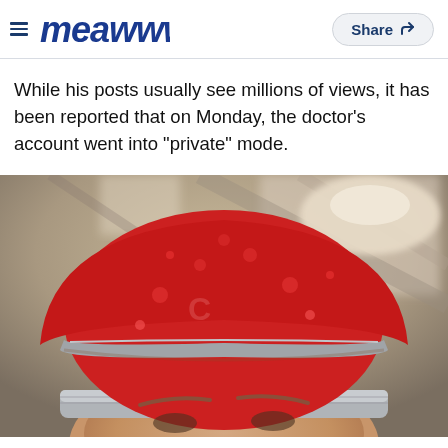meawww | Share
While his posts usually see millions of views, it has been reported that on Monday, the doctor's account went into "private" mode.
[Figure (photo): Close-up photo of a person wearing a red patterned surgical/scrub cap and a gray mask, taken from below looking up, with blurred ceiling and medical lighting in the background.]